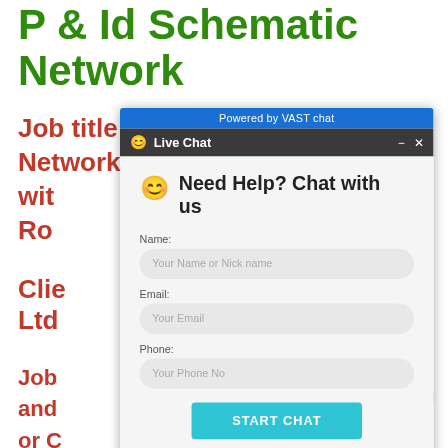P & Id Schematic Network
Job title: P & ID Schematic Network with ... or Pipe Ro...
Clie... Nigeria Ltd
Job ... arrangement and ... arrangement or C... nce sources de... ment work and ... eferences to allo... angement.
Job ... 012
[Figure (screenshot): Live Chat popup window with VAST chat branding. Contains 'Powered by VAST chat' blue topbar, dark header with smiley icon and 'Live Chat' title, minimize and close buttons. Body shows 'Need Help? Chat with us' greeting with smiley, and form fields for Name, Email, Phone with placeholder text, plus a 'START CHAT' button in teal.]